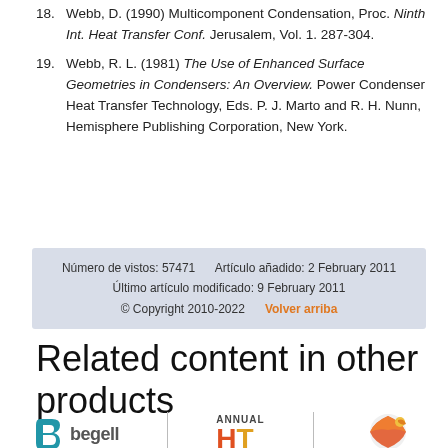18. Webb, D. (1990) Multicomponent Condensation, Proc. Ninth Int. Heat Transfer Conf. Jerusalem, Vol. 1. 287-304.
19. Webb, R. L. (1981) The Use of Enhanced Surface Geometries in Condensers: An Overview. Power Condenser Heat Transfer Technology, Eds. P. J. Marto and R. H. Nunn, Hemisphere Publishing Corporation, New York.
Número de vistos: 57471    Artículo añadido: 2 February 2011
Último artículo modificado: 9 February 2011
© Copyright 2010-2022    Volver arriba
Related content in other products
[Figure (logo): Logos of Begell House, Annual HT, and a third publisher product]